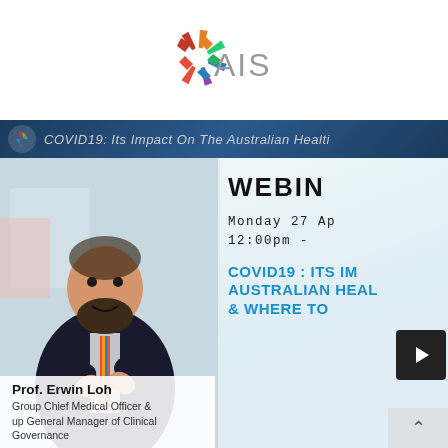[Figure (logo): AIS (Australian Institute of Sport or similar) logo with colorful pinwheel/asterisk shape and grey AIS text]
[Figure (screenshot): Webinar promotional screenshot: COVID19 Its Impact On The Australian Health [system] banner at top, photo of Prof. Erwin Loh (man with beard in dark suit), WEBINAR text, Monday 27 April, 12:00pm time, COVID19 ITS IMPACT AUSTRALIAN HEALTH & WHERE TO in teal bold text, play button overlay]
Prof. Erwin Loh
Group Chief Medical Officer & Group General Manager of Clinical Governance